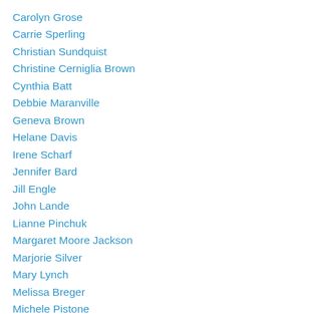Carolyn Grose
Carrie Sperling
Christian Sundquist
Christine Cerniglia Brown
Cynthia Batt
Debbie Maranville
Geneva Brown
Helane Davis
Irene Scharf
Jennifer Bard
Jill Engle
John Lande
Lianne Pinchuk
Margaret Moore Jackson
Marjorie Silver
Mary Lynch
Melissa Breger
Michele Pistone
Nancy Cook
Pam Armstrong